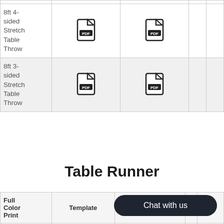| Full Color Print | Template | Specsheet |  | Video |
| --- | --- | --- | --- | --- |
| 8ft 4-sided Stretch Table Throw | [PDF] | [PDF] |  |  |
| 8ft 3-sided Stretch Table Throw | [PDF] | [PDF] |  |  |
Table Runner
| Full Color Print | Template | Specsheet | Chat with us | Video |
| --- | --- | --- | --- | --- |